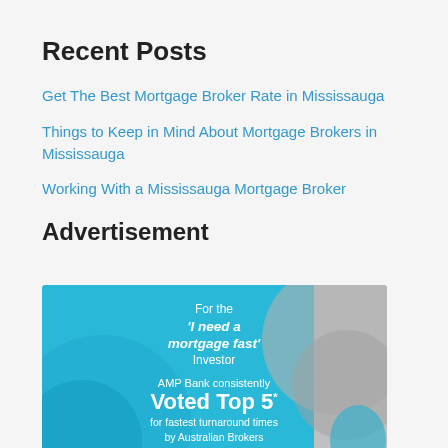Recent Posts
Get The Best Mortgage Broker Rate in Mississauga
Things to Keep in Mind About Mortgage Brokers in Mississauga
Working With a Mississauga Mortgage Broker
Advertisement
[Figure (infographic): AMP Bank advertisement. Text reads: For the 'I need a mortgage fast' Investor. AMP Bank consistently Voted Top 5* for fastest turnaround times by Australian Brokers. * Third Party Lending Report 2021. Features blue gradient background with circular design elements and partial image of a person.]